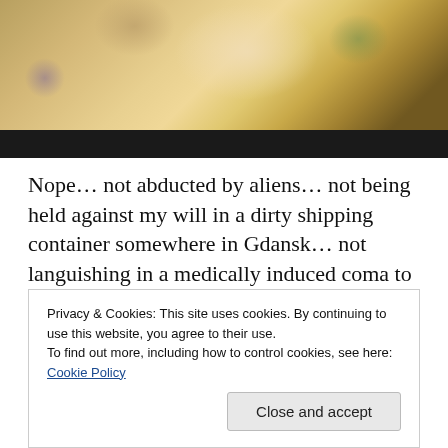[Figure (photo): Partial photo of a blonde woman, with a black bar at the bottom of the image area.]
Nope… not abducted by aliens… not being held against my will in a dirty shipping container somewhere in Gdansk… not languishing in a medically induced coma to overcome my perimenopause. I've just been taking some time off… well OK… maybe a WHOLE LOTTA time off. But now I'm back. With the afternoon off I'm bopping around the apartment doing a few chores and listening to
Privacy & Cookies: This site uses cookies. By continuing to use this website, you agree to their use.
To find out more, including how to control cookies, see here: Cookie Policy
Close and accept